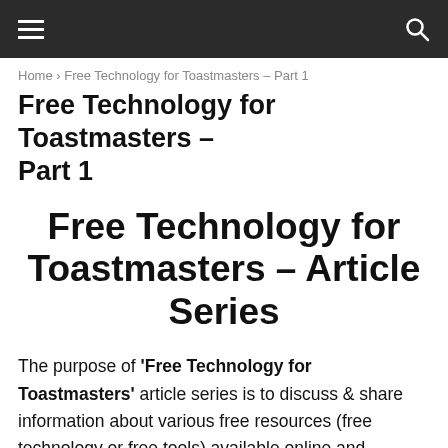≡  🔍
Home › Free Technology for Toastmasters – Part 1
Free Technology for Toastmasters – Part 1
Free Technology for Toastmasters – Article Series
The purpose of 'Free Technology for Toastmasters' article series is to discuss & share information about various free resources (free technology or free tools) available online and Toastmasters can use these FREE resources for the following purposes :